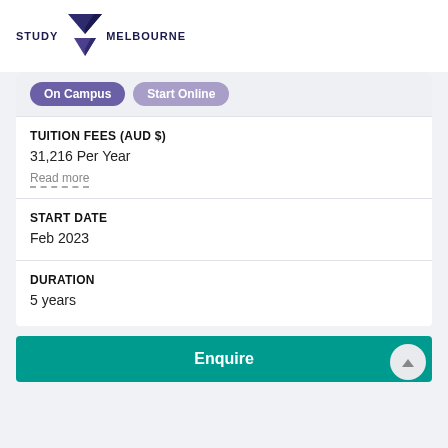[Figure (logo): Study Melbourne logo with dark blue text and purple/navy chevron/triangle icon]
On Campus   Start Online
TUITION FEES (AUD $)
31,216 Per Year
Read more
START DATE
Feb 2023
DURATION
5 years
Enquire